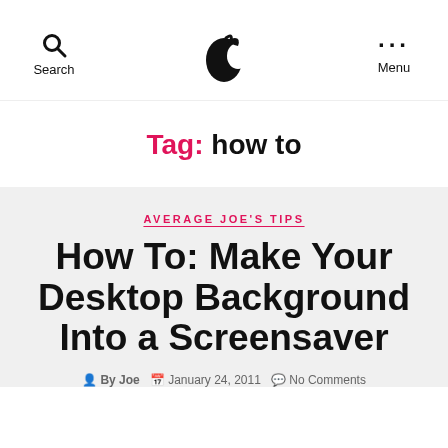Search | [Logo] | Menu
Tag: how to
AVERAGE JOE'S TIPS
How To: Make Your Desktop Background Into a Screensaver
By Joe  •  January 24, 2011  •  No Comments